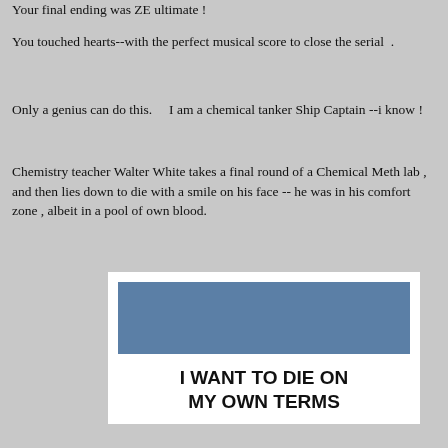Your final ending was ZE ultimate !
You touched hearts--with the perfect musical score to close the serial .
Only a genius can do this.    I am a chemical tanker Ship Captain --i know !
Chemistry teacher Walter White takes a final round of a Chemical Meth lab , and then lies down to die with a smile on his face -- he was in his comfort zone , albeit in a pool of own blood.
[Figure (illustration): A meme card with a steel-blue rectangle at the top and bold text reading 'I WANT TO DIE ON MY OWN TERMS']